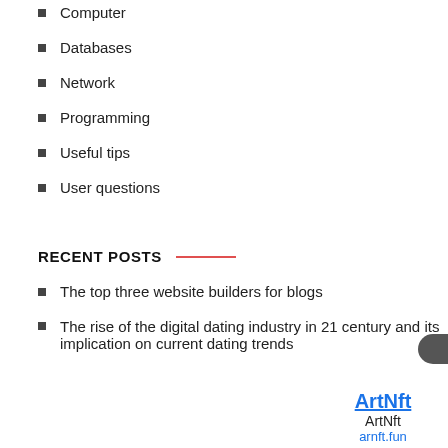Computer
Databases
Network
Programming
Useful tips
User questions
RECENT POSTS
The top three website builders for blogs
The rise of the digital dating industry in 21 century and its implication on current dating trends
ArtNft
ArtNft
arnft.fun